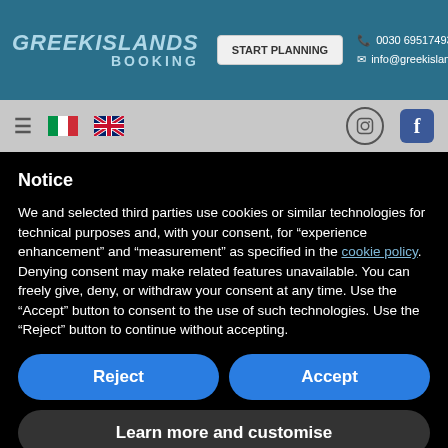GREEKISLANDS BOOKING | START PLANNING | 0030 6951749351 | info@greekislandsbooking.com
[Figure (screenshot): Navigation bar with hamburger menu, Italian flag, UK flag, Instagram icon, and Facebook icon]
Notice
We and selected third parties use cookies or similar technologies for technical purposes and, with your consent, for “experience enhancement” and “measurement” as specified in the cookie policy. Denying consent may make related features unavailable. You can freely give, deny, or withdraw your consent at any time. Use the “Accept” button to consent to the use of such technologies. Use the “Reject” button to continue without accepting.
Reject | Accept
Learn more and customise